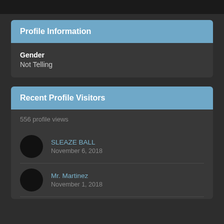Profile Information
Gender
Not Telling
Recent Profile Visitors
556 profile views
SLEAZE BALL
November 6, 2018
Mr. Martinez
November 1, 2018